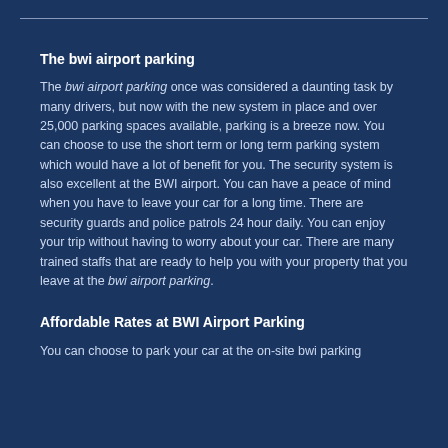The bwi airport parking
The bwi airport parking once was considered a daunting task by many drivers, but now with the new system in place and over 25,000 parking spaces available, parking is a breeze now. You can choose to use the short term or long term parking system which would have a lot of benefit for you. The security system is also excellent at the BWI airport. You can have a peace of mind when you have to leave your car for a long time. There are security guards and police patrols 24 hour daily. You can enjoy your trip without having to worry about your car. There are many trained staffs that are ready to help you with your property that you leave at the bwi airport parking.
Affordable Rates at BWI Airport Parking
You can choose to park your car at the on-site bwi parking